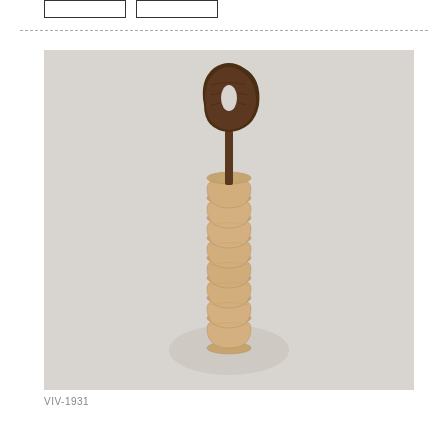[Figure (photo): A photograph of stacked wooden kitchen utensils and small cups/rings arranged vertically on a light gray background. At the top is a dark walnut spatula/spoon with an oval hole cut into the paddle. Below it are multiple light-colored wooden rings or small cup shapes stacked in a column, tapering toward the bottom.]
VIV-1931